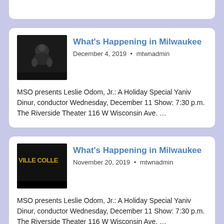What's Happening in Milwaukee
December 4, 2019 • mtwnadmin
MSO presents Leslie Odom, Jr.: A Holiday Special Yaniv Dinur, conductor Wednesday, December 11 Show: 7:30 p.m. The Riverside Theater 116 W Wisconsin Ave. …
What's Happening in Milwaukee
November 20, 2019 • mtwnadmin
MSO presents Leslie Odom, Jr.: A Holiday Special Yaniv Dinur, conductor Wednesday, December 11 Show: 7:30 p.m. The Riverside Theater 116 W Wisconsin Ave. …
What's Happening in Milwaukee